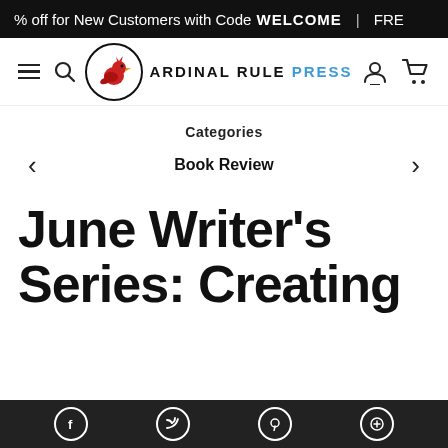% off for New Customers with Code WELCOME | FRE
[Figure (logo): Cardinal Rule Press logo with cardinal bird in circle and text CARDINAL RULE PRESS]
Categories
Book Review
June Writer's Series: Creating
Social media icons: Facebook, Twitter, Pinterest, Link